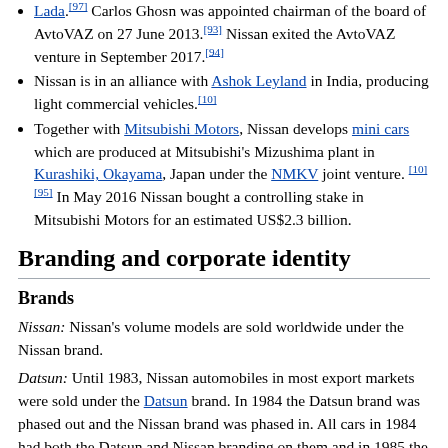Lada.[97] Carlos Ghosn was appointed chairman of the board of AvtoVAZ on 27 June 2013.[93] Nissan exited the AvtoVAZ venture in September 2017.[94]
Nissan is in an alliance with Ashok Leyland in India, producing light commercial vehicles.[10]
Together with Mitsubishi Motors, Nissan develops mini cars which are produced at Mitsubishi's Mizushima plant in Kurashiki, Okayama, Japan under the NMKV joint venture. [10][95] In May 2016 Nissan bought a controlling stake in Mitsubishi Motors for an estimated US$2.3 billion.
Branding and corporate identity
Brands
Nissan: Nissan's volume models are sold worldwide under the Nissan brand.
Datsun: Until 1983, Nissan automobiles in most export markets were sold under the Datsun brand. In 1984 the Datsun brand was phased out and the Nissan brand was phased in. All cars in 1984 had both the Datsun and Nissan branding on them and in 1985 the Datsun name was completely dropped. In July 2013, Nissan launched Datsun as a budget automotive brand.